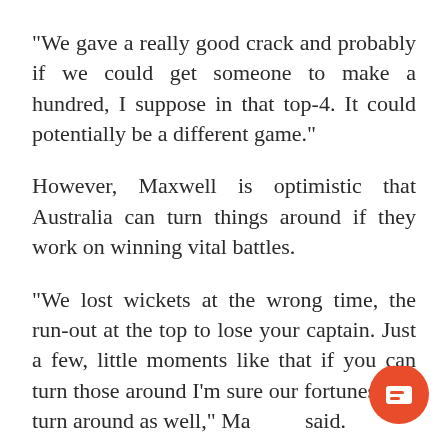"We gave a really good crack and probably if we could get someone to make a hundred, I suppose in that top-4. It could potentially be a different game."
However, Maxwell is optimistic that Australia can turn things around if they work on winning vital battles.
"We lost wickets at the wrong time, the run-out at the top to lose your captain. Just a few, little moments like that if you can turn those around I'm sure our fortunes will turn around as well," Maxwell said.